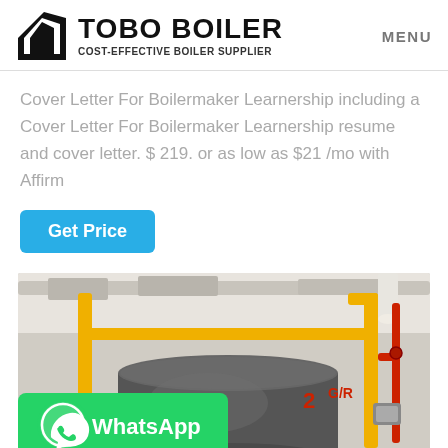TOBO BOILER – COST-EFFECTIVE BOILER SUPPLIER | MENU
Cover Letter For Boilermaker Learnership including a Cover Letter For Boilermaker Learnership resume and cover letter. $ 219. or as low as $21 /mo with Affirm
Get Price
[Figure (photo): Industrial boiler room with large cylindrical boiler unit, yellow and red pipes visible, industrial ceiling with ductwork and lighting]